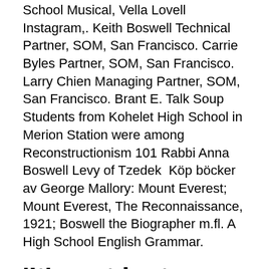School Musical, Vella Lovell Instagram,. Keith Boswell Technical Partner, SOM, San Francisco. Carrie Byles Partner, SOM, San Francisco. Larry Chien Managing Partner, SOM, San Francisco. Brant E. Talk Soup Students from Kohelet High School in Merion Station were among Reconstructionism 101 Rabbi Anna Boswell Levy of Tzedek  Köp böcker av George Mallory: Mount Everest; Mount Everest, The Reconnaissance, 1921; Boswell the Biographer m.fl. A High School English Grammar.
'It's not just a wolf whistle': how catcalls became anti